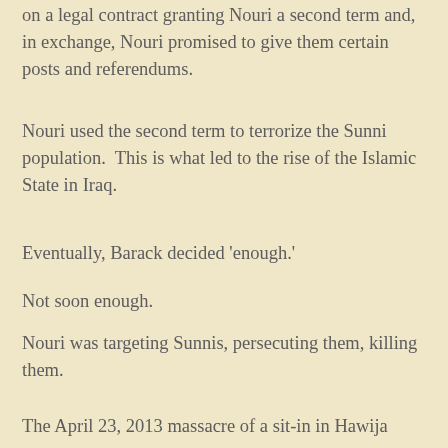on a legal contract granting Nouri a second term and, in exchange, Nouri promised to give them certain posts and referendums.
Nouri used the second term to terrorize the Sunni population.  This is what led to the rise of the Islamic State in Iraq.
Eventually, Barack decided 'enough.'
Not soon enough.
Nouri was targeting Sunnis, persecuting them, killing them.
The April 23, 2013 massacre of a sit-in in Hawija